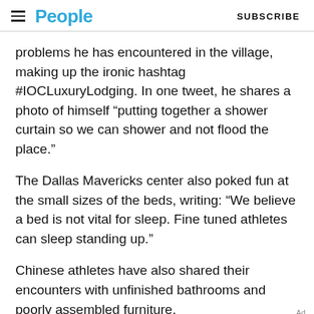People  SUBSCRIBE
problems he has encountered in the village, making up the ironic hashtag #IOCLuxuryLodging. In one tweet, he shares a photo of himself “putting together a shower curtain so we can shower and not flood the place.”
The Dallas Mavericks center also poked fun at the small sizes of the beds, writing: “We believe a bed is not vital for sleep. Fine tuned athletes can sleep standing up.”
Chinese athletes have also shared their encounters with unfinished bathrooms and poorly assembled furniture.